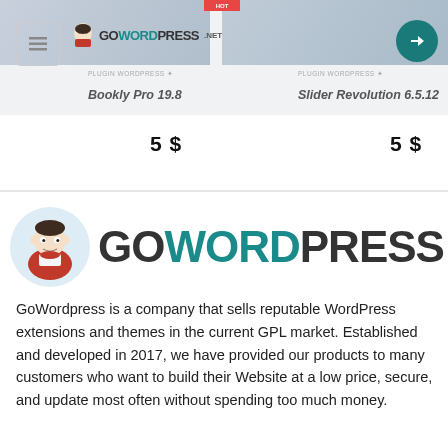[Figure (screenshot): GoWordpress.net website header navigation with logo, menu icon, and teal circular button]
Bookly Pro 19.8
Slider Revolution 6.5.12
5 $
5 $
[Figure (logo): GoWordpress.net logo with vampire mascot and teal WORDPRESS text]
GoWordpress is a company that sells reputable WordPress extensions and themes in the current GPL market. Established and developed in 2017, we have provided our products to many customers who want to build their Website at a low price, secure, and update most often without spending too much money.